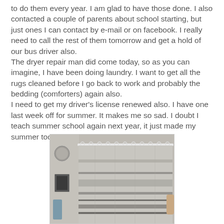to do them every year. I am glad to have those done. I also contacted a couple of parents about school starting, but just ones I can contact by e-mail or on facebook. I really need to call the rest of them tomorrow and get a hold of our bus driver also.
The dryer repair man did come today, so as you can imagine, I have been doing laundry. I want to get all the rugs cleaned before I go back to work and probably the bedding (comforters) again also.
I need to get my driver's license renewed also. I have one last week off for summer. It makes me so sad. I doubt I teach summer school again next year, it just made my summer too short. We shall see.
[Figure (photo): A bathroom shower curtain hanging on a rod. The curtain has a plaid/striped pattern in grey and white tones. A small framed picture is visible on the wall to the left, and a folded towel hangs below it.]